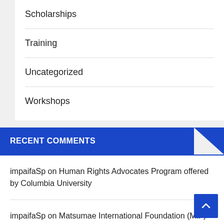Scholarships
Training
Uncategorized
Workshops
RECENT COMMENTS
impaifaSp on Human Rights Advocates Program offered by Columbia University
impaifaSp on Matsumae International Foundation (MIF) Fellowship for International Students in Japan 2019